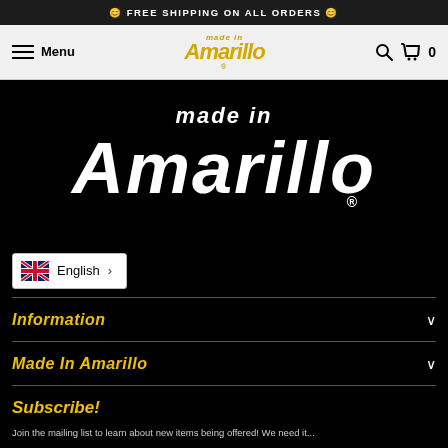😊 FREE SHIPPING ON ALL ORDERS 😊
[Figure (logo): Made in Amarillo logo in navigation bar - yellow italic text]
[Figure (logo): Made in Amarillo large white graffiti-style logo on black background]
English
INFORMATION
MADE IN AMARILLO
SUBSCRIBE!
Join the mailing list to learn about new items being offered! We need it...